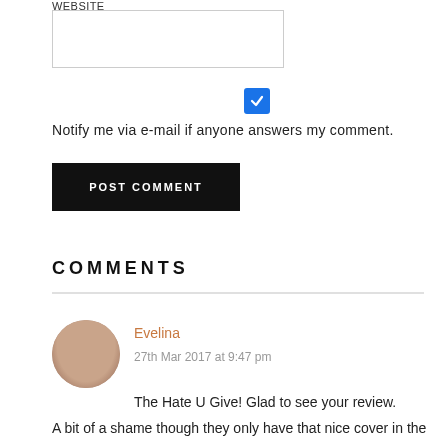Website
Notify me via e-mail if anyone answers my comment.
POST COMMENT
COMMENTS
Evelina
27th Mar 2017 at 9:47 pm
The Hate U Give! Glad to see your review. A bit of a shame though they only have that nice cover in the States...